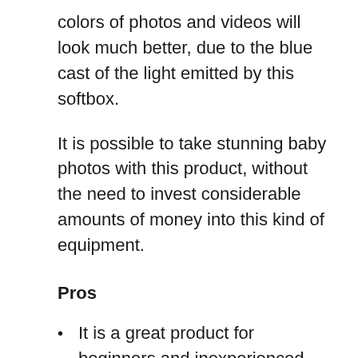colors of photos and videos will look much better, due to the blue cast of the light emitted by this softbox.
It is possible to take stunning baby photos with this product, without the need to invest considerable amounts of money into this kind of equipment.
Pros
It is a great product for beginners and inexperienced photographers;
It is affordable and provides great quality for the spent money;
Light-weighed and easy to carry and install;
The provided light and color are great;